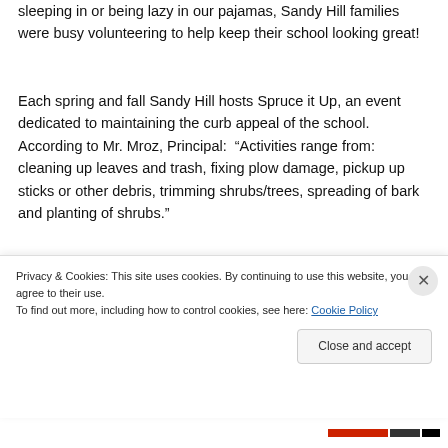sleeping in or being lazy in our pajamas, Sandy Hill families were busy volunteering to help keep their school looking great!
Each spring and fall Sandy Hill hosts Spruce it Up, an event dedicated to maintaining the curb appeal of the school.  According to Mr. Mroz, Principal:  “Activities range from: cleaning up leaves and trash, fixing plow damage, pickup up sticks or other debris, trimming shrubs/trees, spreading of bark and planting of shrubs.”
[Figure (photo): Close-up photo of a red brick wall showing the top edge of a school building exterior]
Privacy & Cookies: This site uses cookies. By continuing to use this website, you agree to their use.
To find out more, including how to control cookies, see here: Cookie Policy
Close and accept